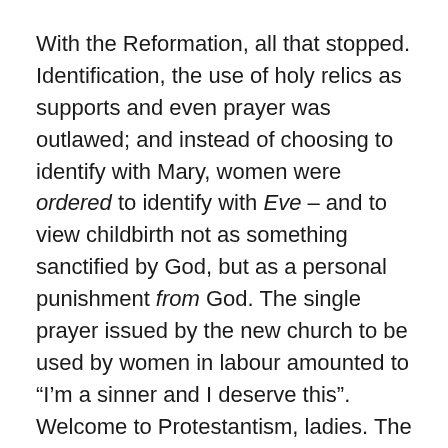With the Reformation, all that stopped. Identification, the use of holy relics as supports and even prayer was outlawed; and instead of choosing to identify with Mary, women were ordered to identify with Eve – and to view childbirth not as something sanctified by God, but as a personal punishment from God. The single prayer issued by the new church to be used by women in labour amounted to “I’m a sinner and I deserve this”. Welcome to Protestantism, ladies. The enforcement of these dictums was taken very seriously indeed, with church representatives even  interrogating midwives to discover who women prayed to while giving birth. (Fancy being held accountable for anything you said during labour! I bet the mortality rate went up during this time, too…)
English society prior to the mid-17th century was based